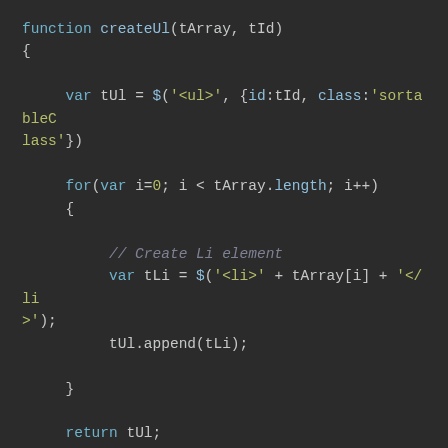[Figure (screenshot): Dark-themed code editor screenshot showing JavaScript functions createUl and sortArray with syntax highlighting. Keywords in blue/teal, strings/numbers in yellow-green, comments in grey.]